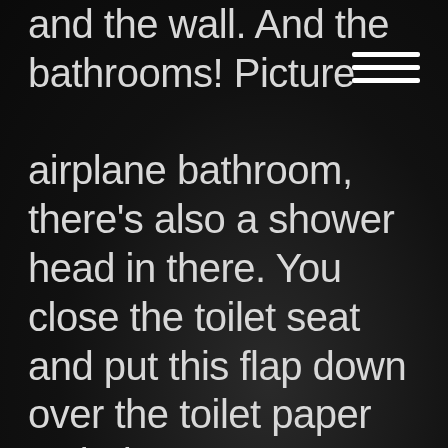and the wall. And the bathrooms! Picture airplane bathroom, there's also a shower head in there. You close the toilet seat and put this flap down over the toilet paper so it doesn't get wet. Then you're good to go.